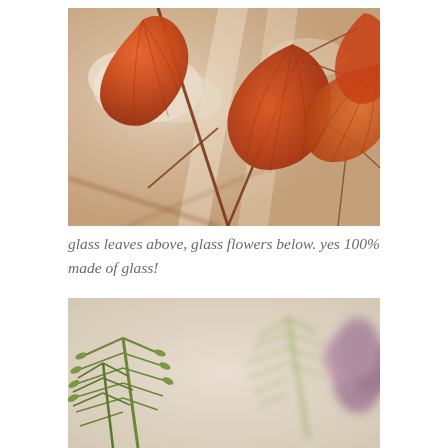[Figure (photo): Close-up photograph of autumn maple leaves in orange/red tones with branches, shot from below against a bright sky. The leaves are made of glass.]
glass leaves above, glass flowers below. yes 100% made of glass!
[Figure (photo): Close-up photograph of green glass fern/plant sculptures with blurred purple flowers in the background, on a light beige background.]